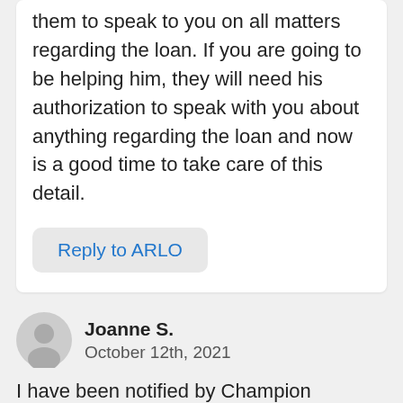them to speak to you on all matters regarding the loan. If you are going to be helping him, they will need his authorization to speak with you about anything regarding the loan and now is a good time to take care of this detail.
Reply to ARLO
Joanne S.
October 12th, 2021
I have been notified by Champion Mortgage that Novad will be servicing my reverse mortgage. They have not given any